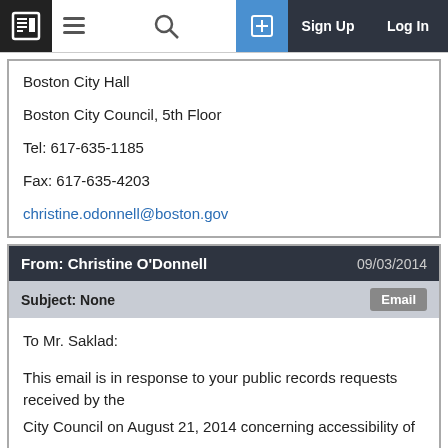Boston City Hall | Boston City Council, 5th Floor | Tel: 617-635-1185 | Fax: 617-635-4203 | christine.odonnell@boston.gov
Boston City Hall
Boston City Council, 5th Floor
Tel: 617-635-1185
Fax: 617-635-4203
christine.odonnell@boston.gov
From: Christine O'Donnell  09/03/2014
Subject: None  Email
To Mr. Saklad:

This email is in response to your public records requests received by the City Council on August 21, 2014 concerning accessibility of